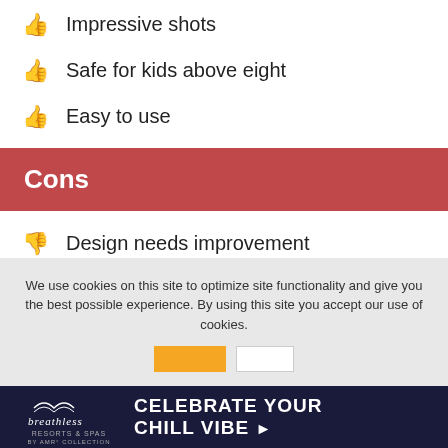Impressive shots
Safe for kids above eight
Easy to use
Cons
Design needs improvement
We use cookies on this site to optimize site functionality and give you the best possible experience. By using this site you accept our use of cookies.
[Figure (other): Breathless Resorts & Spas advertisement banner: CELEBRATE YOUR CHILL VIBE with arrow]